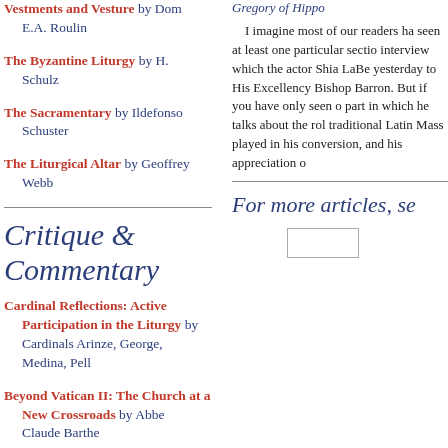Vestments and Vesture by Dom E.A. Roulin
The Byzantine Liturgy by H. Schulz
The Sacramentary by Ildefonso Schuster
The Liturgical Altar by Geoffrey Webb
Critique & Commentary
Cardinal Reflections: Active Participation in the Liturgy by Cardinals Arinze, George, Medina, Pell
Beyond Vatican II: The Church at a New Crossroads by Abbe Claude Barthe
Gregory of Hippo
I imagine most of our readers have seen at least one particular section interview which the actor Shia LaBe yesterday to His Excellency Bishop Barron. But if you have only seen o part in which he talks about the rol traditional Latin Mass played in his conversion, and his appreciation o
For more articles, se